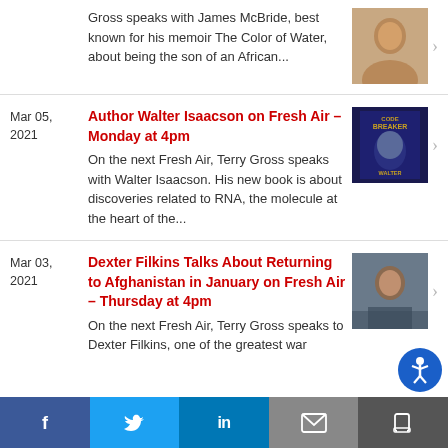Gross speaks with James McBride, best known for his memoir The Color of Water, about being the son of an African...
On the next Fresh Air, Terry Gross speaks with Walter Isaacson. His new book is about discoveries related to RNA, the molecule at the heart of the...
On the next Fresh Air, Terry Gross speaks to Dexter Filkins, one of the greatest war
f | Twitter | in | Email | Share